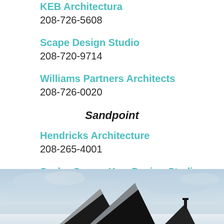KEB Architectura
208-726-5608
Scape Design Studio
208-720-9714
Williams Partners Architects
208-726-0020
Sandpoint
Hendricks Architecture
208-265-4001
Sayler Owens Kerr Design Studio
208-265-9160
[Figure (photo): Winter architectural photo showing dark angular rooflines of a building against a snowy, cloudy sky background.]